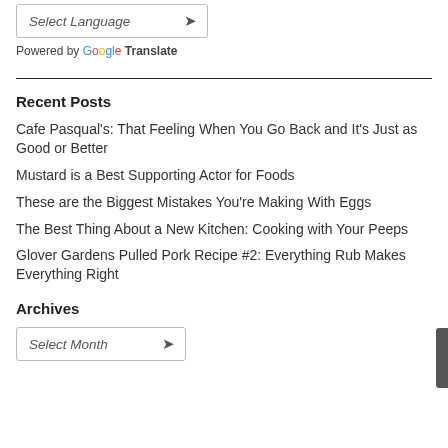[Figure (screenshot): A dropdown widget labeled 'Select Language' with a downward arrow, styled as a select box with border]
Powered by Google Translate
Recent Posts
Cafe Pasqual's: That Feeling When You Go Back and It's Just as Good or Better
Mustard is a Best Supporting Actor for Foods
These are the Biggest Mistakes You're Making With Eggs
The Best Thing About a New Kitchen: Cooking with Your Peeps
Glover Gardens Pulled Pork Recipe #2: Everything Rub Makes Everything Right
Archives
[Figure (screenshot): A dropdown widget labeled 'Select Month' with a downward arrow, styled as a select box with border]